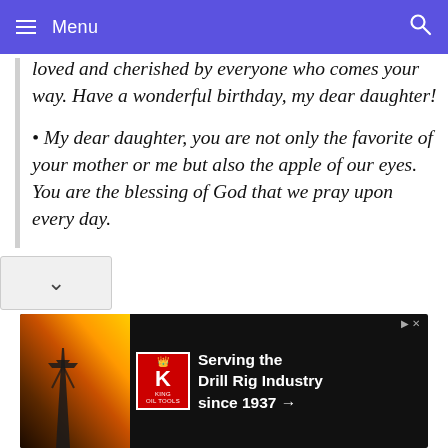Menu
loved and cherished by everyone who comes your way. Have a wonderful birthday, my dear daughter!
• My dear daughter, you are not only the favorite of your mother or me but also the apple of our eyes. You are the blessing of God that we pray upon every day.
[Figure (infographic): Advertisement banner: King Oil Tools - Serving the Drill Rig Industry since 1937]